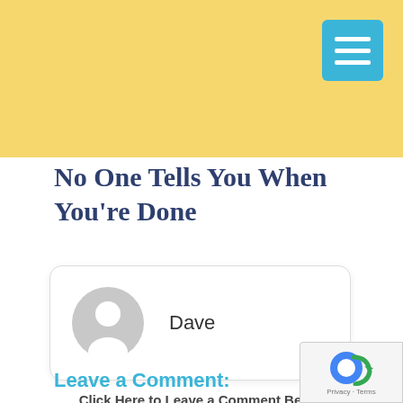No One Tells You When You’re Done
Dave
Click Here to Leave a Comment Below
Leave a Comment:
[Figure (screenshot): reCAPTCHA privacy badge in bottom right corner showing Privacy - Terms]